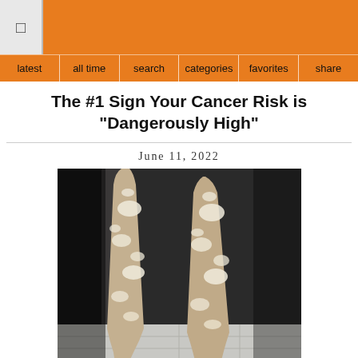latest | all time | search | categories | favorites | share
The #1 Sign Your Cancer Risk is "Dangerously High"
June 11, 2022
[Figure (photo): Close-up photograph of a person's bare legs from the knees down, standing on a tiled floor, with visible white or discolored patches on the skin suggesting a skin condition]